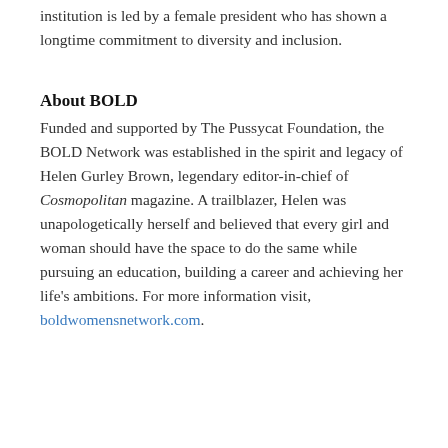institution is led by a female president who has shown a longtime commitment to diversity and inclusion.
About BOLD
Funded and supported by The Pussycat Foundation, the BOLD Network was established in the spirit and legacy of Helen Gurley Brown, legendary editor-in-chief of Cosmopolitan magazine. A trailblazer, Helen was unapologetically herself and believed that every girl and woman should have the space to do the same while pursuing an education, building a career and achieving her life's ambitions. For more information visit, boldwomensnetwork.com.